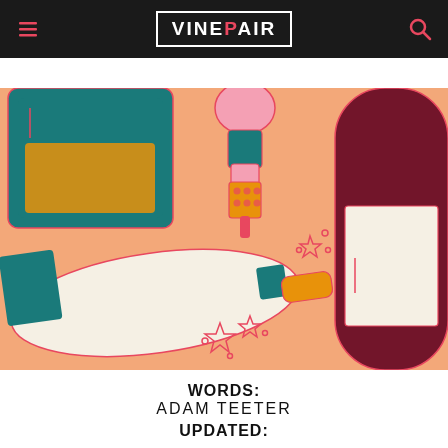VINEPAIR
[Figure (illustration): Colorful flat illustration on peach/salmon background showing wine bottles and a wine opener/corkscrew. Left side: a teal rectangular bottle with orange fill at bottom. Center: a pink and teal corkscrew/wine opener device with orange polka-dot section, pointing downward. Right side: a dark maroon/burgundy wine bottle with a cream/white label. Bottom left: a horizontal laying champagne bottle in cream with teal neck, gold/orange cork area, with decorative sparkle/star elements. Bottom center: additional sparkle/diamond decorative elements.]
WORDS:
ADAM TEETER
UPDATED: